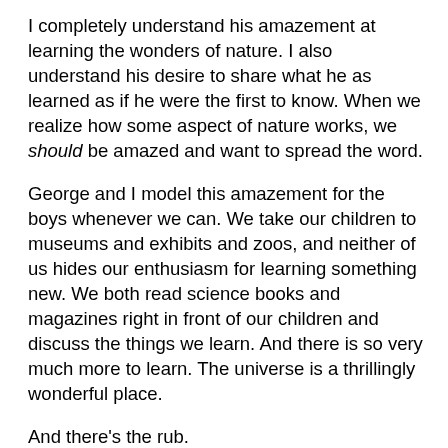I completely understand his amazement at learning the wonders of nature. I also understand his desire to share what he as learned as if he were the first to know. When we realize how some aspect of nature works, we should be amazed and want to spread the word.
George and I model this amazement for the boys whenever we can. We take our children to museums and exhibits and zoos, and neither of us hides our enthusiasm for learning something new. We both read science books and magazines right in front of our children and discuss the things we learn. And there is so very much more to learn. The universe is a thrillingly wonderful place.
And there's the rub.
Socrates said, "The more I know, the more I know that I know nothing."  Nick might be amazed that I know how snowflakes form, but as he grows in knowledge and maturity, I hope he learns to be even more amazed at how that tiny fact has enormous consequences for